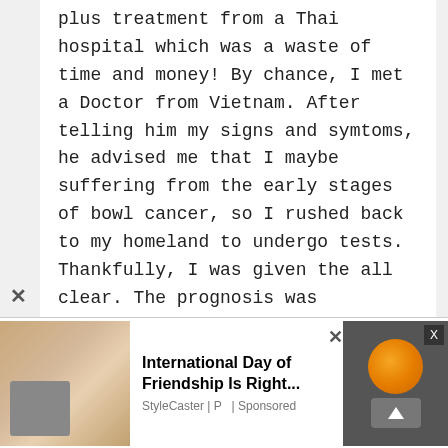plus treatment from a Thai hospital which was a waste of time and money! By chance, I met a Doctor from Vietnam. After telling him my signs and symtoms, he advised me that I maybe suffering from the early stages of bowl cancer, so I rushed back to my homeland to undergo tests. Thankfully, I was given the all clear. The prognosis was bacterial infection cause by contaminated food/s comsumed in Thailand.

When it comes to hygine, most sellers of food products within Thailand seem to turn a blind ...of iced
[Figure (screenshot): Advertisement bar at bottom showing 'International Day of Friendship Is Right...' by StyleCaster LP | Sponsored, with an image thumbnail on the left and a game/app advertisement on the right side]
International Day of Friendship Is Right...
StyleCaster | P | Sponsored